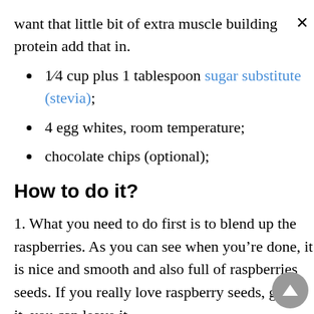want that little bit of extra muscle building protein add that in.
1⁄4 cup plus 1 tablespoon sugar substitute (stevia);
4 egg whites, room temperature;
chocolate chips (optional);
How to do it?
1. What you need to do first is to blend up the raspberries. As you can see when you're done, it is nice and smooth and also full of raspberries seeds. If you really love raspberry seeds, go for it, you can leave it